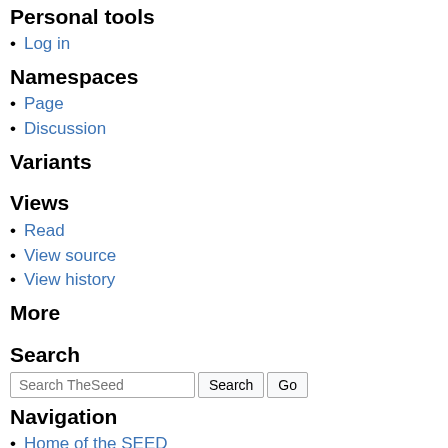Personal tools
Log in
Namespaces
Page
Discussion
Variants
Views
Read
View source
View history
More
Search
Search TheSeed [Search] [Go]
Navigation
Home of the SEED
Manifesto